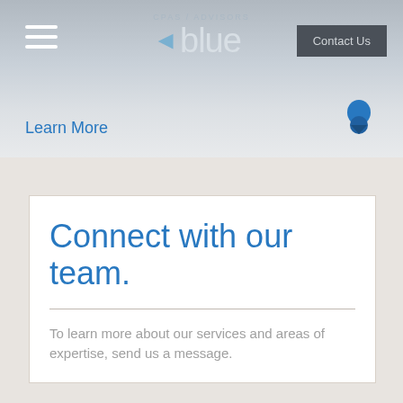CPAs / ADVISORS blue
Learn More
Contact Us
Connect with our team.
To learn more about our services and areas of expertise, send us a message.